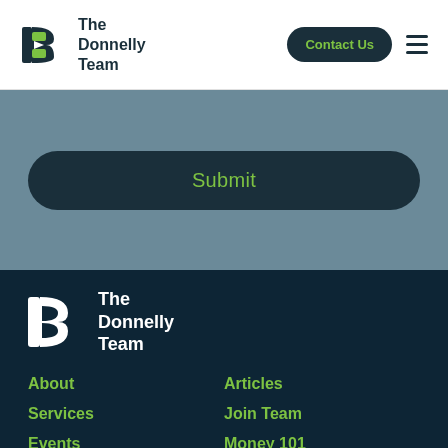The Donnelly Team | Contact Us
Submit
[Figure (logo): The Donnelly Team logo (white version) in footer]
About
Articles
Services
Join Team
Events
Money 101